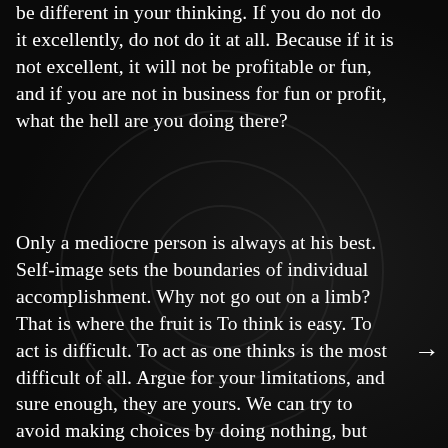be different in your thinking. If you do not do it excellently, do not do it at all. Because if it is not excellent, it will not be profitable or fun, and if you are not in business for fun or profit, what the hell are you doing there?
Only a mediocre person is always at his best. Self-image sets the boundaries of individual accomplishment. Why not go out on a limb? That is where the fruit is To think is easy. To act is difficult. To act as one thinks is the most difficult of all. Argue for your limitations, and sure enough, they are yours. We can try to avoid making choices by doing nothing, but even that is a decision. The wisest men follow their own direction. Instead of seeing the rug being pulled from under us, we can learn to